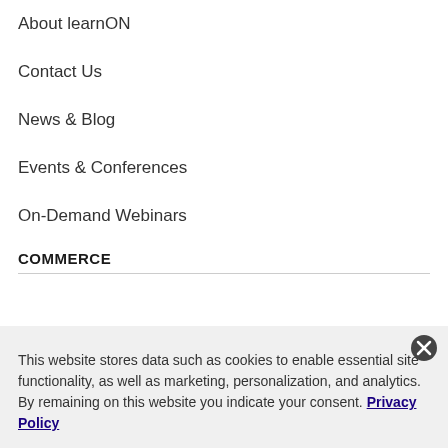About learnON
Contact Us
News & Blog
Events & Conferences
On-Demand Webinars
COMMERCE
This website stores data such as cookies to enable essential site functionality, as well as marketing, personalization, and analytics. By remaining on this website you indicate your consent. Privacy Policy